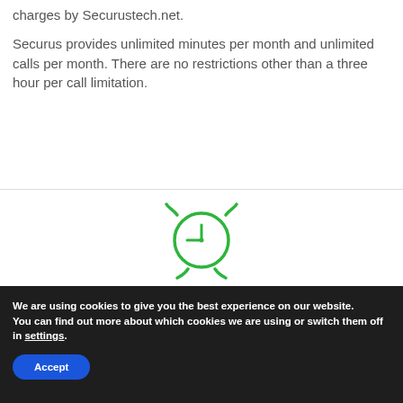charges by Securustech.net.
Securus provides unlimited minutes per month and unlimited calls per month. There are no restrictions other than a three hour per call limitation.
[Figure (illustration): Green alarm clock icon with bell ears, clock face showing approximately 9:00, and small feet at the bottom.]
We are using cookies to give you the best experience on our website.
You can find out more about which cookies we are using or switch them off in settings.
Accept